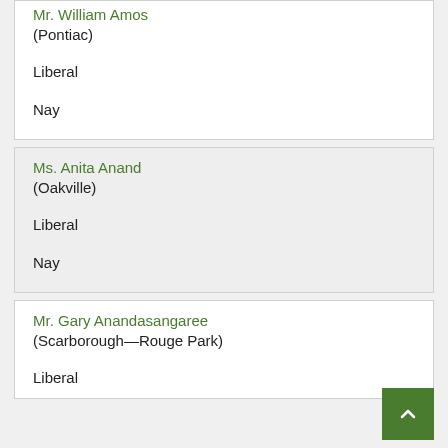Mr. William Amos
(Pontiac)
Liberal
Nay
Ms. Anita Anand
(Oakville)
Liberal
Nay
Mr. Gary Anandasangaree
(Scarborough—Rouge Park)
Liberal